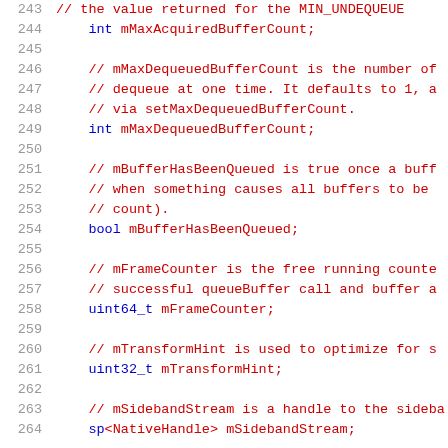[Figure (screenshot): Source code listing showing C++ class member variable declarations with line numbers 243-264, featuring comments in red and keywords in blue on white background]